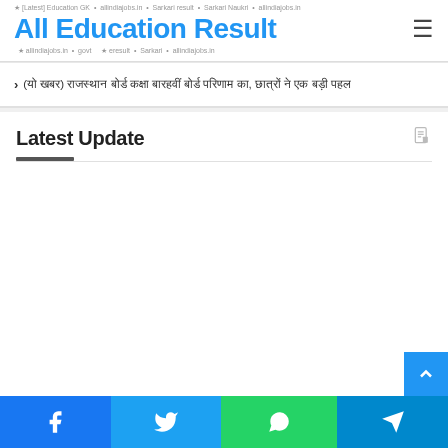All Education Result
(यो खबर) राजस्थान बोर्ड कक्षा बारहवीं बोर्ड परिणाम का, छात्रों ने एक बड़ी पहल
Latest Update
[Figure (other): Social share buttons bar at bottom: Facebook, Twitter, WhatsApp, Telegram]